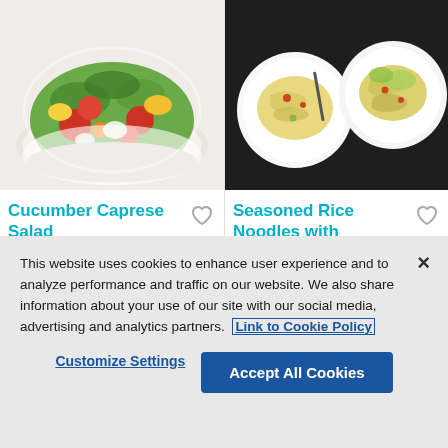[Figure (photo): Bowl of colorful salad with tomatoes, cucumbers, green leaves, and yellow peppers on a white background]
[Figure (photo): Two white plates with rice noodles, cucumber and carrot salad on a dark background, with a fork]
Cucumber Caprese Salad
Seasoned Rice Noodles with Cucumber and Carrot Salad
Take Str...
This website uses cookies to enhance user experience and to analyze performance and traffic on our website. We also share information about your use of our site with our social media, advertising and analytics partners. Link to Cookie Policy
Customize Settings
Accept All Cookies